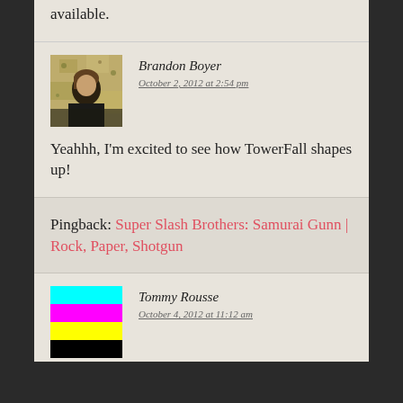available.
Brandon Boyer
October 2, 2012 at 2:54 pm
[Figure (photo): Profile photo of Brandon Boyer, a person with light hair against a textured wall background]
Yeahhh, I'm excited to see how TowerFall shapes up!
Pingback: Super Slash Brothers: Samurai Gunn | Rock, Paper, Shotgun
[Figure (other): CMYK color test stripes: cyan, magenta, yellow, black horizontal bands used as avatar for Tommy Rousse]
Tommy Rousse
October 4, 2012 at 11:12 am